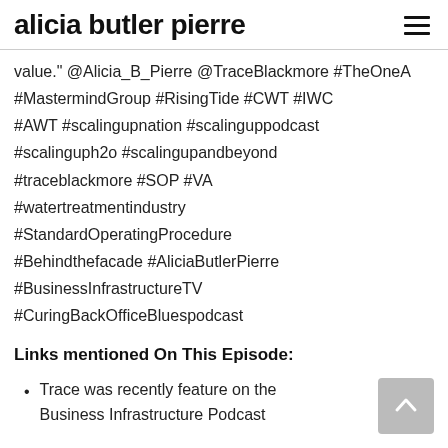alicia butler pierre
value." @Alicia_B_Pierre @TraceBlackmore #TheOneA #MastermindGroup #RisingTide #CWT #IWC #AWT #scalingupnation #scalinguppodcast #scalinguph2o #scalingupandbeyond #traceblackmore #SOP #VA #watertreatmentindustry #StandardOperatingProcedure #Behindthefacade #AliciaButlerPierre #BusinessInfrastructureTV #CuringBackOfficeBluespodcast
Links mentioned On This Episode:
Trace was recently feature on the Business Infrastructure Podcast